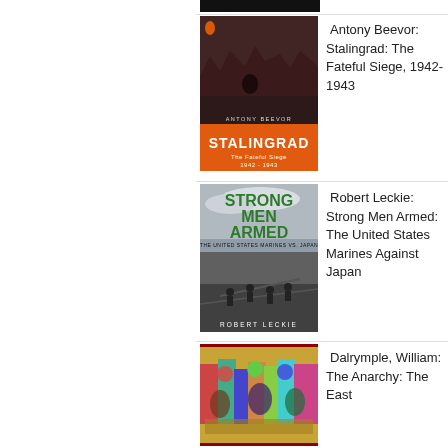[Figure (illustration): Top partial black bar, cropped book cover from previous entry]
[Figure (photo): Book cover: Stalingrad by Antony Beevor, orange bottom strip with destroyed city scene]
Antony Beevor: Stalingrad: The Fateful Siege, 1942-1943
[Figure (photo): Book cover: Strong Men Armed by Robert Leckie, green title text, US Marines black and white photo]
Robert Leckie: Strong Men Armed: The United States Marines Against Japan
[Figure (photo): Book cover: The Anarchy by William Dalrymple, colorful illustrated scene]
Dalrymple, William: The Anarchy: The East